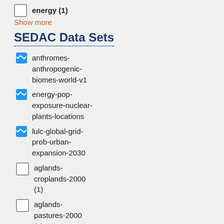energy (1)
Show more
SEDAC Data Sets
anthromes-anthropogenic-biomes-world-v1
energy-pop-exposure-nuclear-plants-locations
lulc-global-grid-prob-urban-expansion-2030
aglands-croplands-2000 (1)
aglands-pastures-2000 (1)
Show more